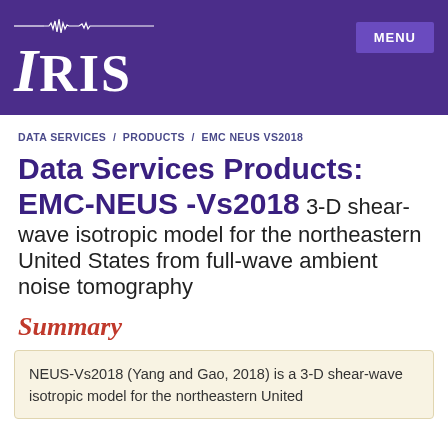IRIS
DATA SERVICES / PRODUCTS / EMC NEUS VS2018
Data Services Products: EMC-NEUS -Vs2018 3-D shear-wave isotropic model for the northeastern United States from full-wave ambient noise tomography
Summary
NEUS-Vs2018 (Yang and Gao, 2018) is a 3-D shear-wave isotropic model for the northeastern United